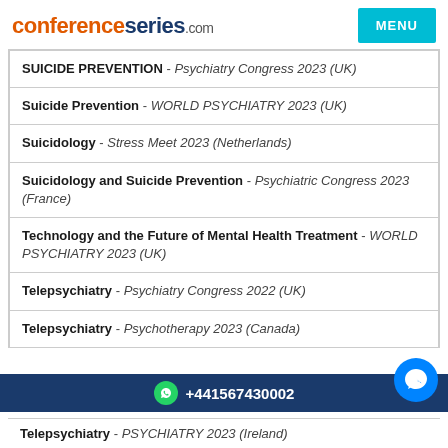conferenceseries.com
SUICIDE PREVENTION - Psychiatry Congress 2023 (UK)
Suicide Prevention - WORLD PSYCHIATRY 2023 (UK)
Suicidology - Stress Meet 2023 (Netherlands)
Suicidology and Suicide Prevention - Psychiatric Congress 2023 (France)
Technology and the Future of Mental Health Treatment - WORLD PSYCHIATRY 2023 (UK)
Telepsychiatry - Psychiatry Congress 2022 (UK)
Telepsychiatry - Psychotherapy 2023 (Canada)
+441567430002
Telepsychiatry - PSYCHIATRY 2023 (Ireland)